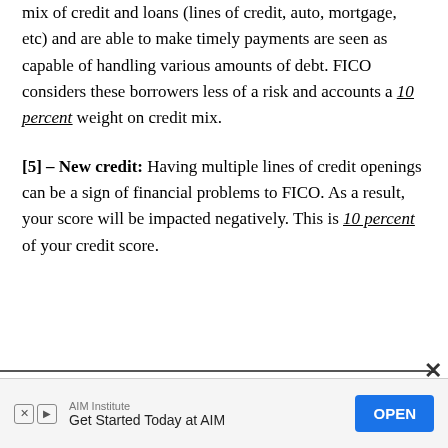mix of credit and loans (lines of credit, auto, mortgage, etc) and are able to make timely payments are seen as capable of handling various amounts of debt. FICO considers these borrowers less of a risk and accounts a 10 percent weight on credit mix.
[5] – New credit: Having multiple lines of credit openings can be a sign of financial problems to FICO. As a result, your score will be impacted negatively. This is 10 percent of your credit score.